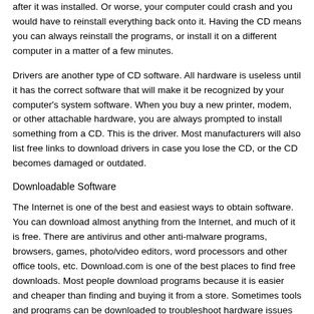after it was installed. Or worse, your computer could crash and you would have to reinstall everything back onto it. Having the CD means you can always reinstall the programs, or install it on a different computer in a matter of a few minutes.
Drivers are another type of CD software. All hardware is useless until it has the correct software that will make it be recognized by your computer's system software. When you buy a new printer, modem, or other attachable hardware, you are always prompted to install something from a CD. This is the driver. Most manufacturers will also list free links to download drivers in case you lose the CD, or the CD becomes damaged or outdated.
Downloadable Software
The Internet is one of the best and easiest ways to obtain software. You can download almost anything from the Internet, and much of it is free. There are antivirus and other anti-malware programs, browsers, games, photo/video editors, word processors and other office tools, etc. Download.com is one of the best places to find free downloads. Most people download programs because it is easier and cheaper than finding and buying it from a store. Sometimes tools and programs can be downloaded to troubleshoot hardware issues (like a corrupted driver), find and remove malicious software, and perform maintenance tasks, like